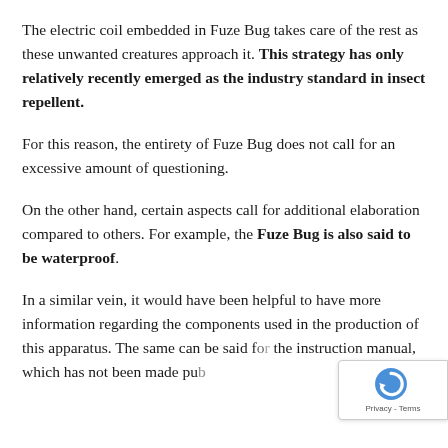The electric coil embedded in Fuze Bug takes care of the rest as these unwanted creatures approach it. This strategy has only relatively recently emerged as the industry standard in insect repellent.
For this reason, the entirety of Fuze Bug does not call for an excessive amount of questioning.
On the other hand, certain aspects call for additional elaboration compared to others. For example, the Fuze Bug is also said to be waterproof.
In a similar vein, it would have been helpful to have more information regarding the components used in the production of this apparatus. The same can be said for the instruction manual, which has not been made pub...